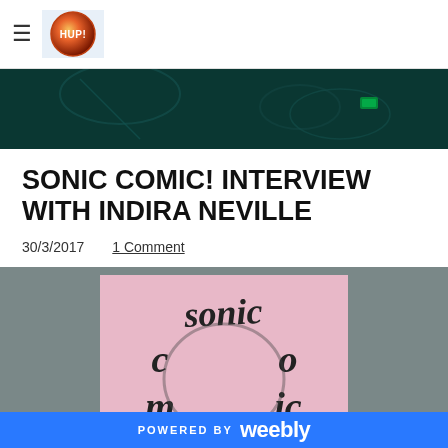HUP! (logo)
[Figure (photo): Dark teal/green toned hero banner image showing what appears to be various objects on a surface with dark overlay]
SONIC COMIC! INTERVIEW WITH INDIRA NEVILLE
30/3/2017   1 Comment
[Figure (photo): Photo of a pink paper/card with hand-lettered text reading SONIC COMIC in black marker, placed on a gray surface]
POWERED BY weebly